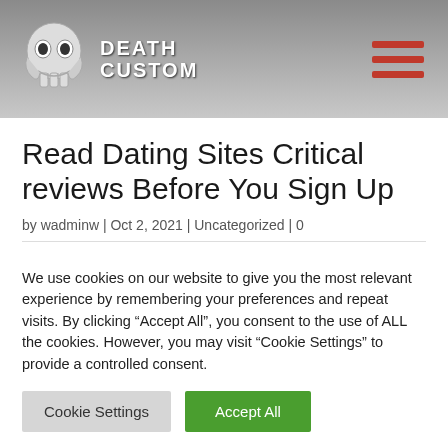DEATH CUSTOM
Read Dating Sites Critical reviews Before You Sign Up
by wadminw | Oct 2, 2021 | Uncategorized | 0
We use cookies on our website to give you the most relevant experience by remembering your preferences and repeat visits. By clicking “Accept All”, you consent to the use of ALL the cookies. However, you may visit “Cookie Settings” to provide a controlled consent.
Cookie Settings | Accept All